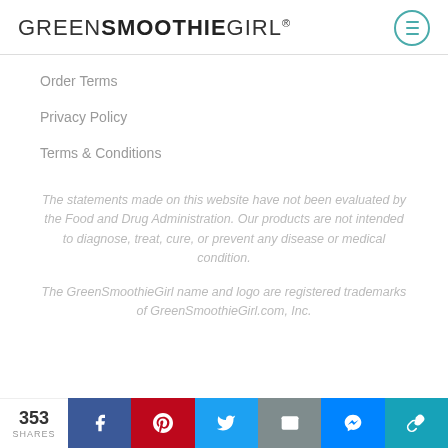GREENSMOOTHIEGIRL®
Order Terms
Privacy Policy
Terms & Conditions
The statements made on this website have not been evaluated by the Food and Drug Administration. Our products are not intended to diagnose, treat, cure, or prevent any disease or medical condition.
The GreenSmoothieGirl name and logo are registered trademarks of GreenSmoothieGirl.com, Inc.
353 SHARES  [Facebook] [Pinterest] [Twitter] [Mail] [Messenger] [Link]